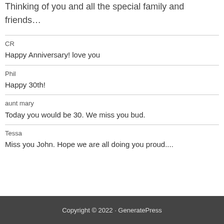Thinking of you and all the special family and friends…
CR
Happy Anniversary! love you
Phil
Happy 30th!
aunt mary
Today you would be 30. We miss you bud.
Tessa
Miss you John. Hope we are all doing you proud....
Copyright © 2022 · GeneratePress